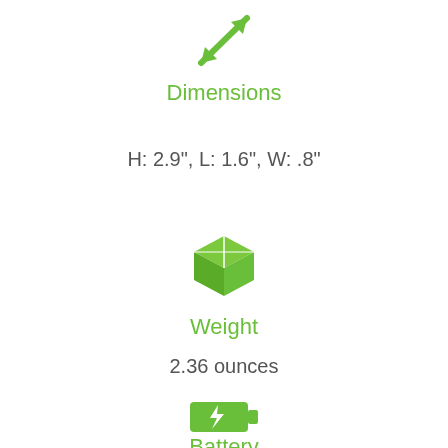[Figure (illustration): Green double-headed arrow icon pointing diagonally (resize/dimensions icon)]
Dimensions
H: 2.9", L: 1.6", W: .8"
[Figure (illustration): Green 3D cube/box icon representing weight/package]
Weight
2.36 ounces
[Figure (illustration): Green battery icon with lightning bolt]
Battery